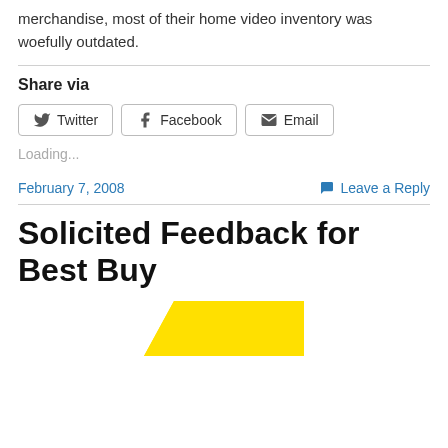merchandise, most of their home video inventory was woefully outdated.
Share via
[Figure (other): Share buttons for Twitter, Facebook, and Email]
Loading...
February 7, 2008    Leave a Reply
Solicited Feedback for Best Buy
[Figure (logo): Best Buy logo - yellow tag shape]